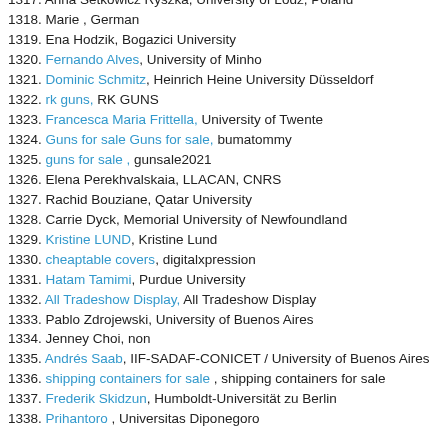1317. Anna Setkowicz Ryszka, University of Lodz, Poland
1318. Marie , German
1319. Ena Hodzik, Bogazici University
1320. Fernando Alves, University of Minho
1321. Dominic Schmitz, Heinrich Heine University Düsseldorf
1322. rk guns, RK GUNS
1323. Francesca Maria Frittella, University of Twente
1324. Guns for sale Guns for sale, bumatommy
1325. guns for sale , gunsale2021
1326. Elena Perekhvalskaia, LLACAN, CNRS
1327. Rachid Bouziane, Qatar University
1328. Carrie Dyck, Memorial University of Newfoundland
1329. Kristine LUND, Kristine Lund
1330. cheaptable covers, digitalxpression
1331. Hatam Tamimi, Purdue University
1332. All Tradeshow Display, All Tradeshow Display
1333. Pablo Zdrojewski, University of Buenos Aires
1334. Jenney Choi, non
1335. Andrés Saab, IIF-SADAF-CONICET / University of Buenos Aires
1336. shipping containers for sale , shipping containers for sale
1337. Frederik Skidzun, Humboldt-Universität zu Berlin
1338. Prihantoro , Universitas Diponegoro